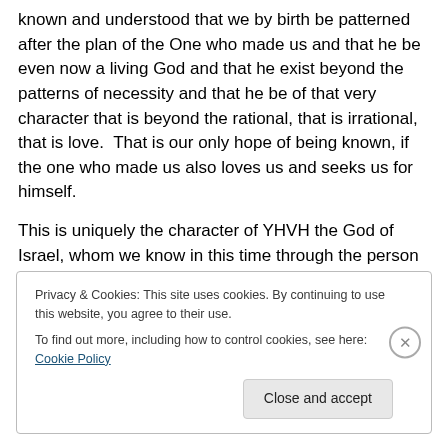known and understood that we by birth be patterned after the plan of the One who made us and that he be even now a living God and that he exist beyond the patterns of necessity and that he be of that very character that is beyond the rational, that is irrational, that is love.  That is our only hope of being known, if the one who made us also loves us and seeks us for himself.
This is uniquely the character of YHVH the God of Israel, whom we know in this time through the person of Yeshua our Messiah.  The very few will answer the call of Yeshua:
Privacy & Cookies: This site uses cookies. By continuing to use this website, you agree to their use.
To find out more, including how to control cookies, see here: Cookie Policy